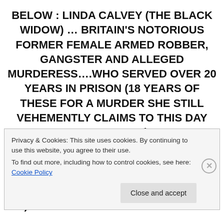BELOW : LINDA CALVEY (THE BLACK WIDOW) … BRITAIN'S NOTORIOUS FORMER FEMALE ARMED ROBBER, GANGSTER AND ALLEGED MURDERESS….WHO SERVED OVER 20 YEARS IN PRISON (18 YEARS OF THESE FOR A MURDER SHE STILL VEHEMENTLY CLAIMS TO THIS DAY SHE DID NOT COMMIT ) ….. SEEN FILMED HERE AT LITTLEDEAN JAIL HAVING A HEAD AND HANDS CAST FOR DISPLAY ( FOR THE LINDA CALVEY – BLACK WIDOW EXHIBITION ) NOW ON PERMANENT DISPLAY
Privacy & Cookies: This site uses cookies. By continuing to use this website, you agree to their use.
To find out more, including how to control cookies, see here: Cookie Policy
Close and accept